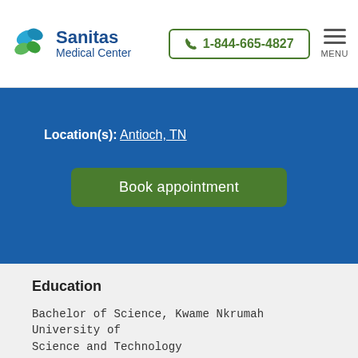Sanitas Medical Center | 1-844-665-4827 | MENU
Location(s): Antioch, TN
Book appointment
Education
Bachelor of Science, Kwame Nkrumah University of Science and Technology
Bachelor of Medicine, Kwame Nkrumah University of Science and Technology
Master of Tropical Pediatrics, University of Liverpool, UK
Residency, Lincoln Hospital, New York